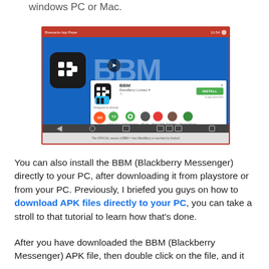now enjoy the BBM (Blackberry Messenger) on your windows PC or Mac.
[Figure (screenshot): Screenshot of a desktop application window (BlueStacks App Player) showing BBM (Blackberry Messenger) app page on the Google Play Store interface, with a large BBM logo, INSTALL button, and app icons for Downloads, 4.3 stars, Communication, BB link, Free Calling, and Money-Related categories. Navigation bar at bottom.]
You can also install the BBM (Blackberry Messenger) directly to your PC, after downloading it from playstore or from your PC. Previously, I briefed you guys on how to download APK files directly to your PC, you can take a stroll to that tutorial to learn how that's done.
After you have downloaded the BBM (Blackberry Messenger) APK file, then double click on the file, and it